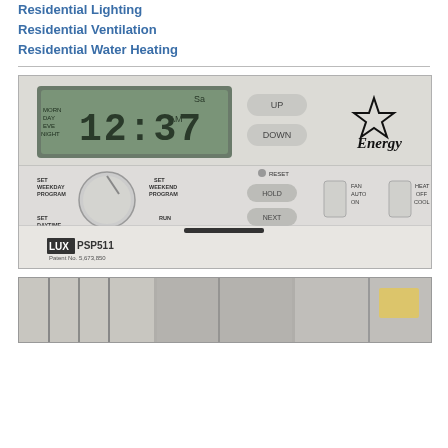Residential Lighting
Residential Ventilation
Residential Water Heating
[Figure (photo): Photo of a LUX PSP511 programmable thermostat with Energy Star logo, showing digital display reading 12:37 AM, with SET WEEKDAY PROGRAM, SET WEEKEND PROGRAM, SET DAYTIME, RUN, HOLD, NEXT, UP, DOWN, RESET buttons, and FAN AUTO/ON and HEAT/OFF/COOL switches. Patent No. 5,673,850.]
[Figure (photo): Partial photo at bottom of page, appears to show mechanical or electrical equipment with cables and components visible.]